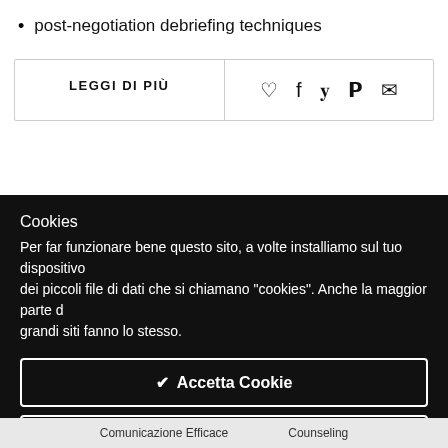post-negotiation debriefing techniques
LEGGI DI PIÙ
♡ f ✦ ℗ ✉
Cookies
Per far funzionare bene questo sito, a volte installiamo sul tuo dispositivo dei piccoli file di dati che si chiamano "cookies". Anche la maggior parte di grandi siti fanno lo stesso.
✔ Accetta Cookie
Leggi di più →
Impostazioni Cookie ✦
Comunicazione Efficace   Counseling